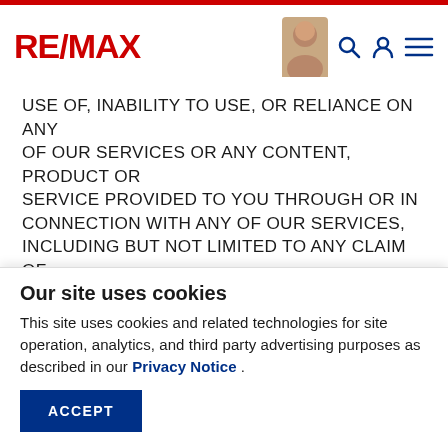RE/MAX
USE OF, INABILITY TO USE, OR RELIANCE ON ANY OF OUR SERVICES OR ANY CONTENT, PRODUCT OR SERVICE PROVIDED TO YOU THROUGH OR IN CONNECTION WITH ANY OF OUR SERVICES, INCLUDING BUT NOT LIMITED TO ANY CLAIM OF ANY NATURE BY A THIRD PARTY AGAINST ANY RE/MAX GROUP PARTIES, THEIR LICENSORS OR THEIR RESPECTIVE AFFILIATES, AGENTS, EMPLOYEES AND REPRESENTATIVES.
THIS IS A COMPREHENSIVE LIMITATION OF LIABILITY THAT APPLIES TO ALL LOSSES AND
Our site uses cookies
This site uses cookies and related technologies for site operation, analytics, and third party advertising purposes as described in our Privacy Notice .
ACCEPT